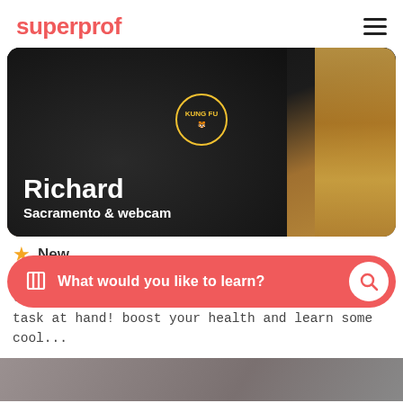superprof
[Figure (photo): Profile photo of Richard, a Kung Fu instructor wearing a black Kung Fu t-shirt with a tiger logo, standing next to a wooden training dummy. Name overlay: Richard, Sacramento & webcam]
New
Kung fu is a great way to practice mindfulness: the complete immersion of your senses in the task at hand! boost your health and learn some cool...
What would you like to learn?
[Figure (photo): Bottom strip showing another instructor profile photo (partially visible)]